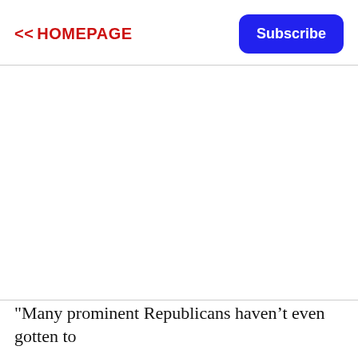<< HOMEPAGE
Subscribe
"Many prominent Republicans haven’t even gotten to